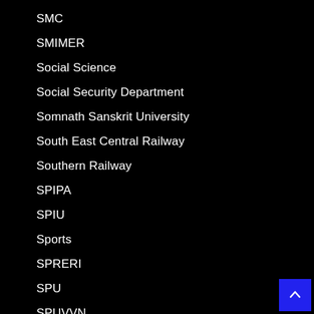SMC
SMIMER
Social Science
Social Security Department
Somnath Sanskrit University
South East Central Railway
Southern Railway
SPIPA
SPIU
Sports
SPRERI
SPU
SPUVVN
SSA
SSB